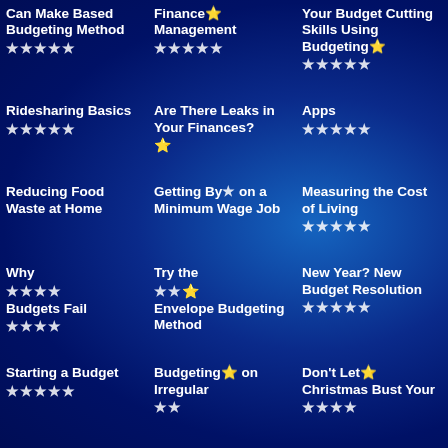Can Make Based Budgeting Method
Finance ⭐ Management ★★★★★
Your Budget Cutting Skills Using Budgeting Apps ★★★★★
Ridesharing Basics ★★★★★
Are There Leaks in Your Finances?
Reducing Food Waste at Home
Getting By on a Minimum Wage Job
Measuring the Cost of Living ★★★★★
Why ★★★★ Budgets Fail ★★★★
Try the ★★ Envelope Budgeting Method
New Year? New Budget Resolution
Starting a Budget ★★★★★
Budgeting on Irregular
Don't Let ★ Christmas Bust Your